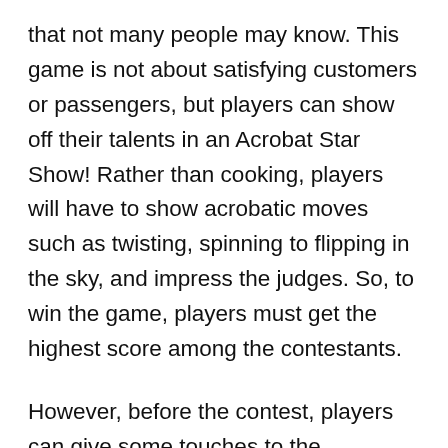that not many people may know. This game is not about satisfying customers or passengers, but players can show off their talents in an Acrobat Star Show! Rather than cooking, players will have to show acrobatic moves such as twisting, spinning to flipping in the sky, and impress the judges. So, to win the game, players must get the highest score among the contestants.
However, before the contest, players can give some touches to the characters. Make them look pretty by choosing a pretty dress and make sure to put some make-up on. During the contest, make sure not to fall and get injured. Because if this